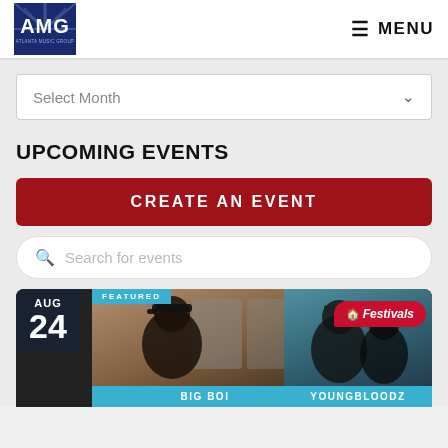[Figure (logo): AMG logo - dark blue square with white rays and AMG text]
≡ MENU
Select Month
UPCOMING EVENTS
CREATE AN EVENT
Search for events
[Figure (photo): Event card showing AUG 24 date badge, Big Boi artist photo on left, Youngbloodz on right with Festivals badge. Featured label at top.]